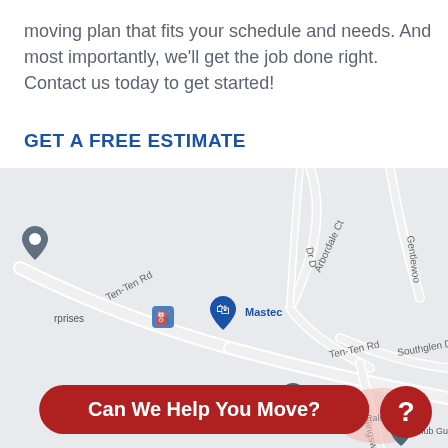moving plan that fits your schedule and needs. And most importantly, we'll get the job done right. Contact us today to get started!
GET A FREE ESTIMATE
[Figure (map): Google Maps screenshot showing the area around Ten-Ten Rd in Raleigh, NC. Visible streets include Ten-Ten Rd, Arbordale Ct, Southglen Dr, Killingsworth, and Gentlewoo(d). Map pins mark locations including Mastec, Atlantic Mulch And Erosion Control, a gas station icon, and Club Gu(y). A blue marker pin is shown at top left.]
Can We Help You Move?